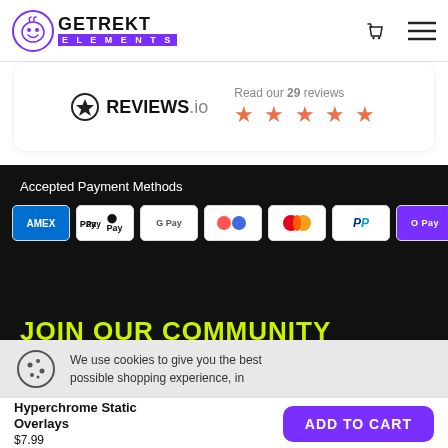[Figure (logo): Getrekt Elements logo with flask icon and purple text bar]
[Figure (infographic): Reviews.io badge showing 5 stars and 29 reviews]
Accepted Payment Methods
[Figure (infographic): Payment method icons: Amex, Apple Pay, Google Pay, Klarna, Mastercard, PayPal, O Pay, Visa]
JOIN OUR COMMUNITY
We use cookies to give you the best possible shopping experience, in
Hyperchrome Static Overlays
$7.99
[Figure (other): Add to Cart button (purple)]